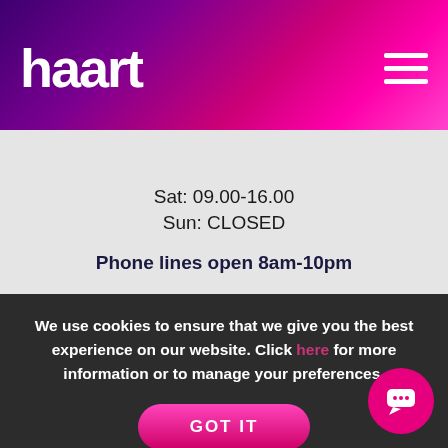haart
Sat: 09.00-16.00
Sun: CLOSED

Phone lines open 8am-10pm
Looking to buy or sell property in Grayshottt?
We use cookies to ensure that we give you the best experience on our website. Click here for more information or to manage your preferences.